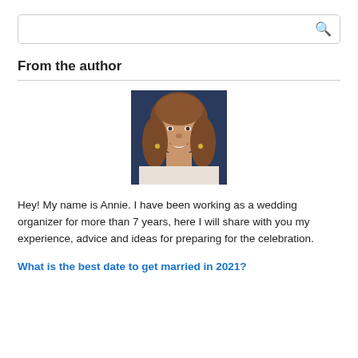[Figure (other): Search bar with magnifying glass icon]
From the author
[Figure (photo): Headshot photo of a smiling woman with curly brown hair against a dark blue background]
Hey! My name is Annie. I have been working as a wedding organizer for more than 7 years, here I will share with you my experience, advice and ideas for preparing for the celebration.
What is the best date to get married in 2021?